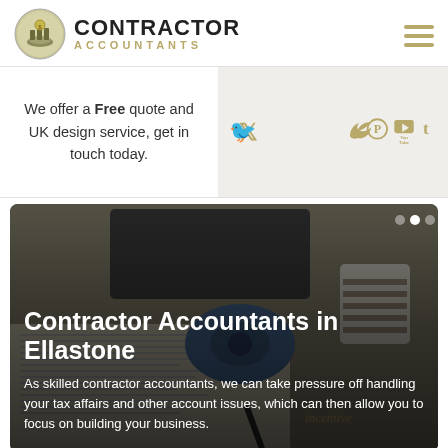[Figure (logo): Contractor Accountants logo with circular icon showing coins and hands, and text CONTRACTOR ACCOUNTANTS]
We offer a Free quote and UK design service, get in touch today.
[Figure (infographic): Social media icons: Twitter, Pinterest, YouTube, Tumblr in gold/tan color on light background]
[Figure (photo): Hero image showing a desk with papers, a pen, a blue tape dispenser, and striped cups in background — overlaid with white text about Contractor Accountants in Ellastone]
Contractor Accountants in Ellastone
As skilled contractor accountants, we can take pressure off handling your tax affairs and other account issues, which can then allow you to focus on building your business.